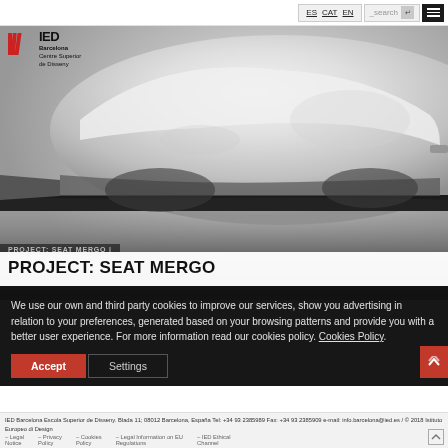ES  CAT  EN  _search  [menu]
[Figure (photo): Close-up photo of a white futuristic concept car (SEAT Mergo), showing the smooth curved body panel and undercarriage against a light background fading to dark]
PROJECT: SEAT MERGO |
PROJECT: SEAT MERGO
We use our own and third party cookies to improve our services, show you advertising in relation to your preferences, generated based on your browsing patterns and provide you with a better user experience. For more information read our cookies policy. Cookies Policy.
Accept
Settings
IED Barcelona Escola Superior de Disseny. Blada 11; 08012 Barcelona, España Tel: +34 93 2385989 Fax: +34 93 2385909 e-mail: info.barcelona@ied.es / © 2018 Istituto Europeo di Design – Legal Notice  – Privacy Policy  – Cookies Policy  – Legal Information on EU Regulations  – IED Ethical Channel